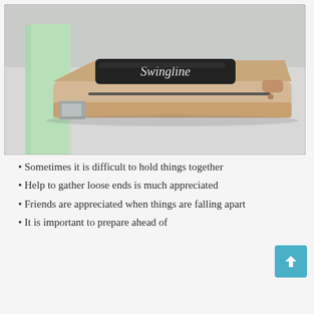[Figure (photo): A tan/beige Swingline stapler with a black top label, placed on a light gray surface next to a green sheet of paper]
Sometimes it is difficult to hold things together
Help to gather loose ends is much appreciated
Friends are appreciated when things are falling apart
It is important to prepare ahead of